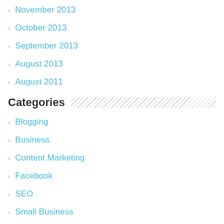November 2013
October 2013
September 2013
August 2013
August 2011
Categories
Blogging
Business
Content Marketing
Facebook
SEO
Small Business
Social Media Marketing
Uncategorized